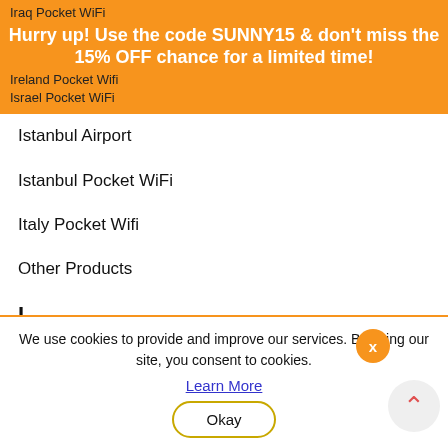Iraq Pocket WiFi
Hurry up! Use the code SUNNY15 & don't miss the 15% OFF chance for a limited time!
Ireland Pocket Wifi
Israel Pocket WiFi
Istanbul Airport
Istanbul Pocket WiFi
Italy Pocket Wifi
Other Products
I
I Meet Hotel - Amsterdam Edition
J
Jaipur
Jakarta
We use cookies to provide and improve our services. By using our site, you consent to cookies.
Learn More
Okay